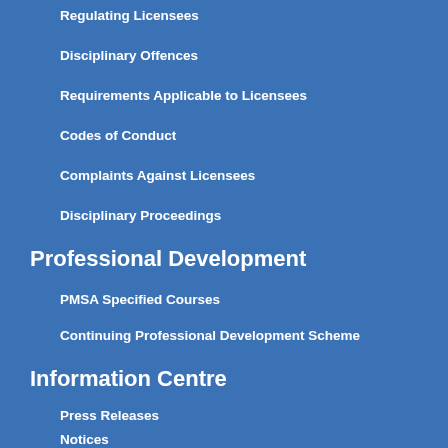Regulating Licensees
Disciplinary Offences
Requirements Applicable to Licensees
Codes of Conduct
Complaints Against Licensees
Disciplinary Proceedings
Professional Development
PMSA Specified Courses
Continuing Professional Development Scheme
Information Centre
Press Releases
Notices
Annual Reports